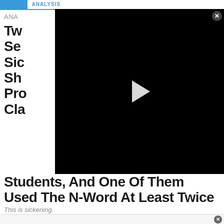ANALYSIS
[Figure (screenshot): Black video player with white play button triangle in center, overlaying part of the article title]
ANA
Two Senior Side Shows Proved Classically, Students, And One Of Them Used The N-Word At Least Twice
This is sickening.